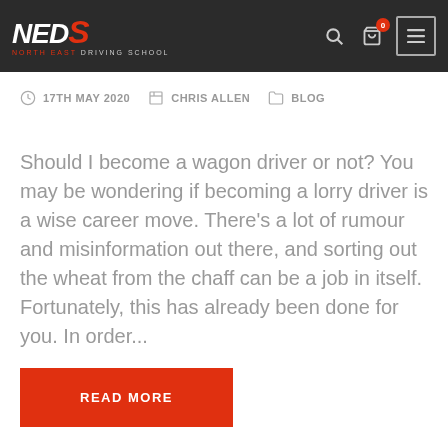[Figure (logo): NEDS North East Driving School logo in white and red on dark background, with search, cart and menu icons]
17TH MAY 2020  CHRIS ALLEN  BLOG
Should I become a wagon driver or not? You may be wondering if becoming a lorry driver is a wise career move. There's a lot of rumour and misinformation out there, and sorting out the wheat from the chaff can be a job in itself. Fortunately, this has already been done for you. In order...
READ MORE